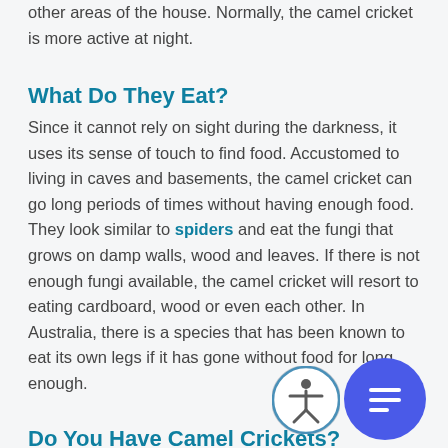other areas of the house. Normally, the camel cricket is more active at night.
What Do They Eat?
Since it cannot rely on sight during the darkness, it uses its sense of touch to find food. Accustomed to living in caves and basements, the camel cricket can go long periods of times without having enough food. They look similar to spiders and eat the fungi that grows on damp walls, wood and leaves. If there is not enough fungi available, the camel cricket will resort to eating cardboard, wood or even each other. In Australia, there is a species that has been known to eat its own legs if it has gone without food for long enough.
Do You Have Camel Crickets?
Since camel crickets are active at night you are not
[Figure (illustration): Accessibility icon button (circle with person figure) and chat icon button (circle with chat bubble lines), overlapping bottom-right corner of the page]